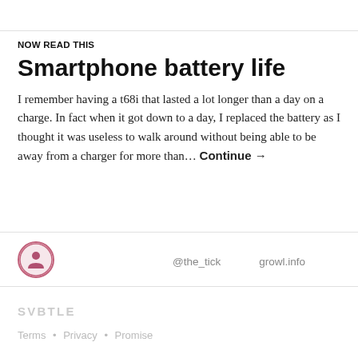NOW READ THIS
Smartphone battery life
I remember having a t68i that lasted a lot longer than a day on a charge. In fact when it got down to a day, I replaced the battery as I thought it was useless to walk around without being able to be away from a charger for more than… Continue →
@the_tick    growl.info
SVBTLE
Terms • Privacy • Promise